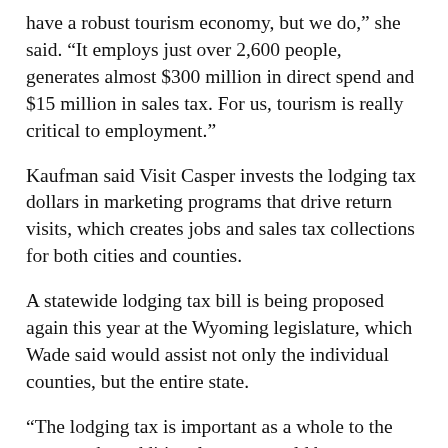have a robust tourism economy, but we do,” she said. “It employs just over 2,600 people, generates almost $300 million in direct spend and $15 million in sales tax. For us, tourism is really critical to employment.”
Kaufman said Visit Casper invests the lodging tax dollars in marketing programs that drive return visits, which creates jobs and sales tax collections for both cities and counties.
A statewide lodging tax bill is being proposed again this year at the Wyoming legislature, which Wade said would assist not only the individual counties, but the entire state.
“The lodging tax is important as a whole to the state — that additional money could be very beneficial to the Wyoming Office of Tourism, which has a broader reach than our local organizations,” Wade explained.
The Wyoming Travel Industry Coalition reports that the lodging tax makes up about 18 percent of the tax dollars from travelers. While a study by the American Economics group in